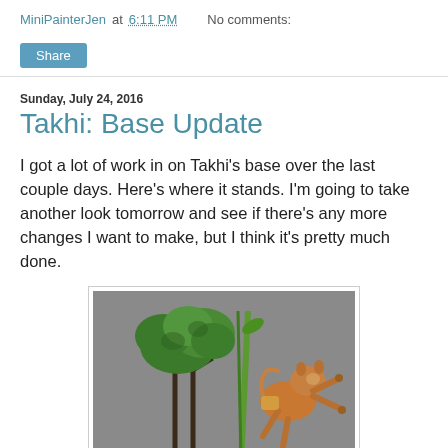MiniPainterJen at 6:11 PM   No comments:
Share
Sunday, July 24, 2016
Takhi: Base Update
I got a lot of work in on Takhi's base over the last couple days. Here's where it stands. I'm going to take another look tomorrow and see if there's any more changes I want to make, but I think it's pretty much done.
[Figure (photo): Painted miniature figure of a creature climbing a green vine/staff, next to a detailed miniature tree with green foliage, set against a grey background.]